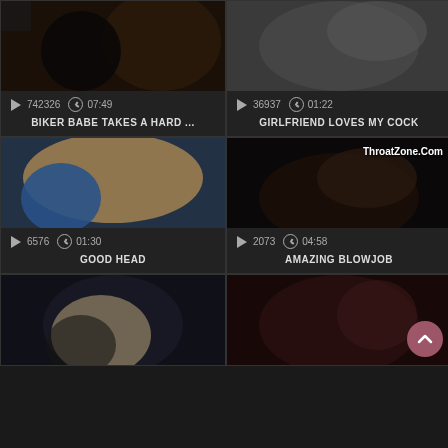[Figure (screenshot): Video thumbnail grid showing adult video listings with thumbnails, play counts, durations, and titles]
742326  07:49
BIKER BABE TAKES A HARD ...
36937  01:22
GIRLFRIEND LOVES MY COCK
6576  01:30
GOOD HEAD
2073  04:58
AMAZING BLOWJOB